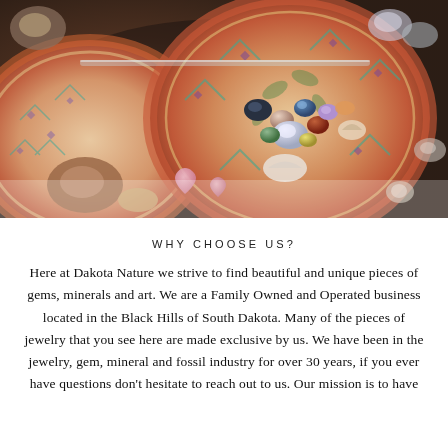[Figure (photo): Overhead view of decorative plates with Native American geometric patterns in orange, turquoise, and cream, with various polished gemstones, crystals, and mineral specimens arranged on and around the plates on a dark surface. Heart-shaped rose quartz pieces and other decorative stones are visible.]
WHY CHOOSE US?
Here at Dakota Nature we strive to find beautiful and unique pieces of gems, minerals and art. We are a Family Owned and Operated business located in the Black Hills of South Dakota. Many of the pieces of jewelry that you see here are made exclusive by us. We have been in the jewelry, gem, mineral and fossil industry for over 30 years, if you ever have questions don't hesitate to reach out to us. Our mission is to have